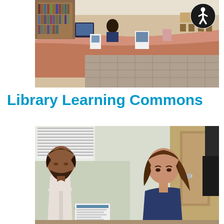[Figure (photo): Interior of a library learning commons showing a curved service desk with computers, bookshelves, and open floor space with tile flooring. An accessibility icon (person in circle) is visible in the upper right corner.]
Library Learning Commons
[Figure (photo): A male library staff member with dark hair and beard hands a document or pamphlet to a female student with brown hair wearing a dark blue sweater, in what appears to be a library or office setting.]